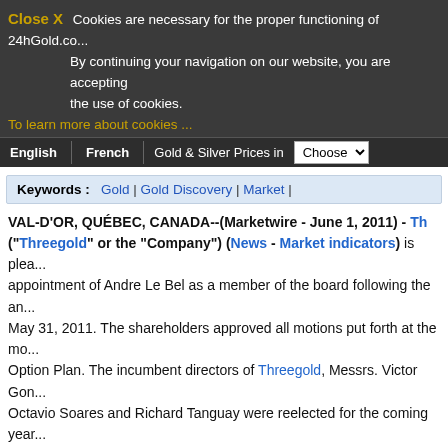Close X  Cookies are necessary for the proper functioning of 24hGold.co... By continuing your navigation on our website, you are accepting the use of cookies.
To learn more about cookies ...
English | French | Gold & Silver Prices in | Choose
Keywords :  Gold | Gold Discovery | Market |
VAL-D'OR, QUÉBEC, CANADA--(Marketwire - June 1, 2011) - Th... ("Threegold" or the "Company") (News - Market indicators) is plea... appointment of Andre Le Bel as a member of the board following the a... May 31, 2011. The shareholders approved all motions put forth at the m... Option Plan. The incumbent directors of Threegold, Messrs. Victor Gon... Octavio Soares and Richard Tanguay were reelected for the coming year...
Mr. Le Bel is the Vice-President Legal Affairs and Corporate Secretary o... since November 2007. From 1997 to November 2006 he held the positio... Cambior Inc. and he was promoted to Vice-President Legal Affairs of IA... following the acquisition of Cambior by IAMGOLD in November 2006... of RedQuest Capital Corp., a capital pool company.
President and CEO of Threegold Victor Goncalves remarked: "Mr. Le Be... are excited about the experience and depth Mr le Bel will add to the cur...
The company also wishes to announce that in accordance with its stock...